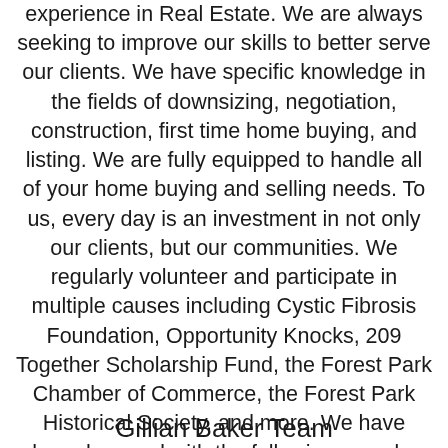experience in Real Estate. We are always seeking to improve our skills to better serve our clients. We have specific knowledge in the fields of downsizing, negotiation, construction, first time home buying, and listing. We are fully equipped to handle all of your home buying and selling needs. To us, every day is an investment in not only our clients, but our communities. We regularly volunteer and participate in multiple causes including Cystic Fibrosis Foundation, Opportunity Knocks, 209 Together Scholarship Fund, the Forest Park Chamber of Commerce, the Forest Park Historical Society, and more. We have been honored with the following awards, but it is the smile on our clients' faces as they either settle into their new home or embark on their new adventure that is the best award we could receive.
Gillian Baker Team